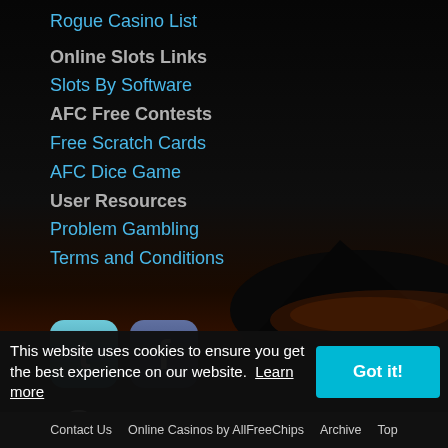Rogue Casino List
Online Slots Links
Slots By Software
AFC Free Contests
Free Scratch Cards
AFC Dice Game
User Resources
Problem Gambling
Terms and Conditions
[Figure (logo): Twitter and Facebook social media icon buttons]
[Figure (logo): BeGambleAware.org 18+ banner logo]
This website uses cookies to ensure you get the best experience on our website. Learn more
Contact Us   Online Casinos by AllFreeChips   Archive   Top